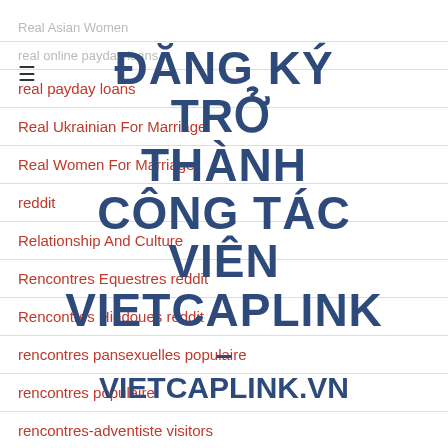[Figure (screenshot): Website overlay with Vietnamese text: ĐĂNG KÝ TRỞ THÀNH CỘNG TÁC VIÊN VIETCAPLINK – VIETCAPLINK.VN in large dark blue bold font overlaid on a navigation list page]
Real Asian Women (partially visible, gray)
real online payday loans (partially visible, gray)
real payday loans
Real Ukrainian For Marriage
Real Women For Marriage
reddit
Relationship And Culture
Rencontres Equestres reddit
Rencontres Hindoues reddit
rencontres pansexuelles populaire
rencontres populaire
rencontres-adventiste visitors